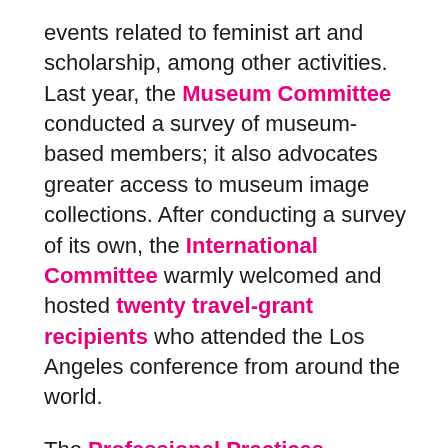events related to feminist art and scholarship, among other activities. Last year, the Museum Committee conducted a survey of museum-based members; it also advocates greater access to museum image collections. After conducting a survey of its own, the International Committee warmly welcomed and hosted twenty travel-grant recipients who attended the Los Angeles conference from around the world.
The Professional Practices Committee continues to study, develop, and revise CAA's Standards and Guidelines, so that these documents, once approved by the CAA board, become authoritative, comprehensive documents for art-related disciplines. The Committee on Diversity Practices is compiling syllabi that consider diversity and inclusiveness in curricula and the classroom. The Committee on Intellectual Property completely updated all